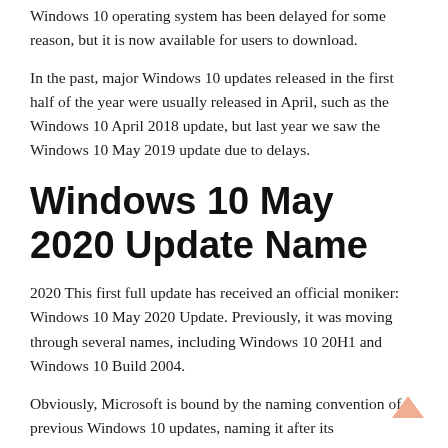Windows 10 operating system has been delayed for some reason, but it is now available for users to download.
In the past, major Windows 10 updates released in the first half of the year were usually released in April, such as the Windows 10 April 2018 update, but last year we saw the Windows 10 May 2019 update due to delays.
Windows 10 May 2020 Update Name
2020 This first full update has received an official moniker: Windows 10 May 2020 Update. Previously, it was moving through several names, including Windows 10 20H1 and Windows 10 Build 2004.
Obviously, Microsoft is bound by the naming convention of previous Windows 10 updates, naming it after its